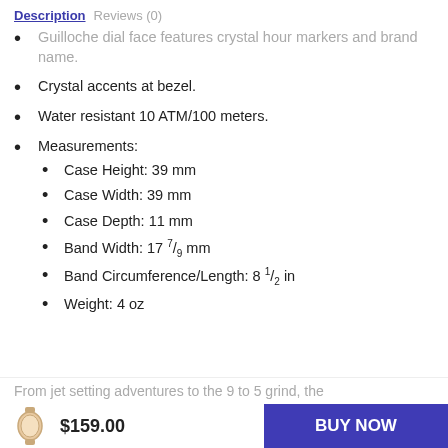Description   Reviews (0)
Guilloche dial face features crystal hour markers and brand name.
Crystal accents at bezel.
Water resistant 10 ATM/100 meters.
Measurements:
Case Height: 39 mm
Case Width: 39 mm
Case Depth: 11 mm
Band Width: 17 7/9 mm
Band Circumference/Length: 8 1/2 in
Weight: 4 oz
From jet setting adventures to the 9 to 5 grind, the iconic Parker watch collection by Michael Kors...
$159.00
BUY NOW